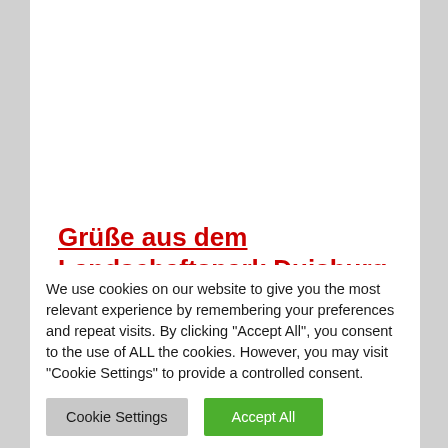Grüße aus dem Landschaftspark Duisburg
Grüße aus dem #landschaftsparkduisburg #architecturephotography #selfie #selfienation #selfies  #me #love #pretty #handsome #instagood #instaselfie #selfietime #face #shamelessselefie
We use cookies on our website to give you the most relevant experience by remembering your preferences and repeat visits. By clicking "Accept All", you consent to the use of ALL the cookies. However, you may visit "Cookie Settings" to provide a controlled consent.